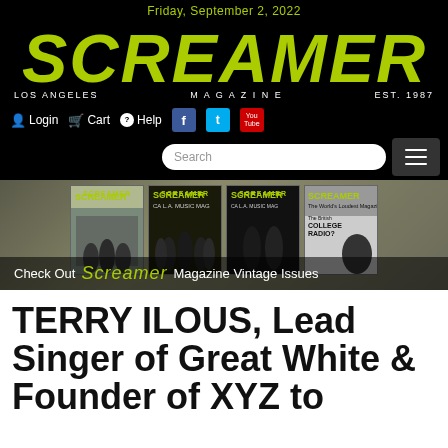Friday, September 2, 2022
[Figure (logo): Screamer Magazine logo — large stylized green lettering on black background, with 'Los Angeles' and 'EST. 1987' subtext and 'MAGAZINE' beneath]
Login  Cart  Help  [Facebook] [Twitter] [YouTube]
[Figure (screenshot): Search bar and hamburger menu button]
[Figure (photo): Banner showing four vintage Screamer Magazine covers with overlay text: Check Out SCREAMER Magazine Vintage Issues]
TERRY ILOUS, Lead Singer of Great White & Founder of XYZ to